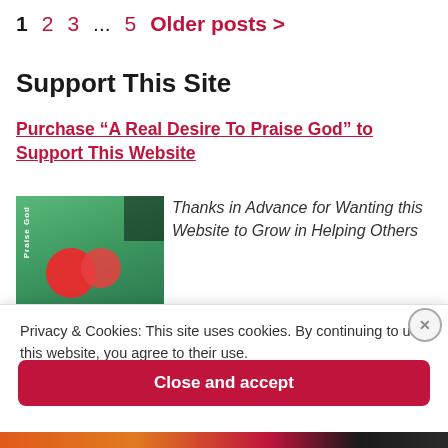1  2  3  ...  5  Older posts >
Support This Site
Purchase “A Real Desire To Praise God” to Support This Website
[Figure (photo): Book cover showing green background with red circles/flowers and spine text reading 'Praise God']
Thanks in Advance for Wanting this Website to Grow in Helping Others
Privacy & Cookies: This site uses cookies. By continuing to use this website, you agree to their use.
To find out more, including how to control cookies, see here: Cookie Policy
Close and accept